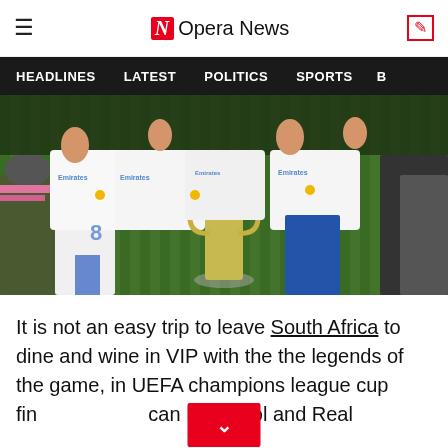Opera News
HEADLINES   LATEST   POLITICS   SPORTS
[Figure (photo): Real Madrid players celebrating with the UEFA Champions League trophy, holding it up on the pitch. Players wearing white jerseys with Emirates sponsor, gold medals around necks.]
It is not an easy trip to leave South Africa to dine and wine in VIP with the the legends of the game, in UEFA champions league cup fin... can Liverpool and Real